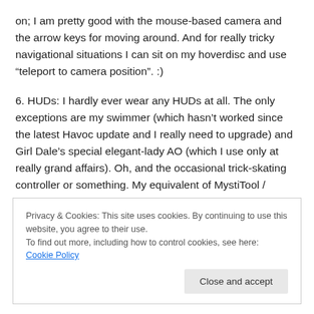on; I am pretty good with the mouse-based camera and the arrow keys for moving around. And for really tricky navigational situations I can sit on my hoverdisc and use “teleport to camera position”. :)
6. HUDs: I hardly ever wear any HUDs at all. The only exceptions are my swimmer (which hasn’t worked since the latest Havoc update and I really need to upgrade) and Girl Dale’s special elegant-lady AO (which I use only at really grand affairs). Oh, and the occasional trick-skating controller or something. My equivalent of MystiTool /
Privacy & Cookies: This site uses cookies. By continuing to use this website, you agree to their use.
To find out more, including how to control cookies, see here: Cookie Policy
Close and accept